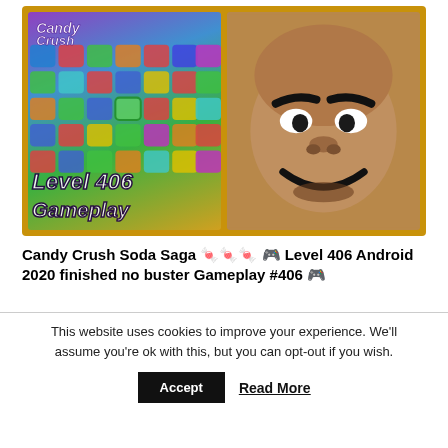[Figure (screenshot): YouTube video thumbnail split into two panels: left panel shows Candy Crush Soda Saga gameplay at Level 406 with colorful candy grid and text 'Level 406 Gameplay'; right panel shows a cartoon/illustrated face with dark skin tone, thick eyebrows, and a smiling expression on a brown background.]
Candy Crush Soda Saga 🍬🍬🍬 🎮 Level 406 Android 2020 finished no buster Gameplay #406 🎮
This website uses cookies to improve your experience. We'll assume you're ok with this, but you can opt-out if you wish.